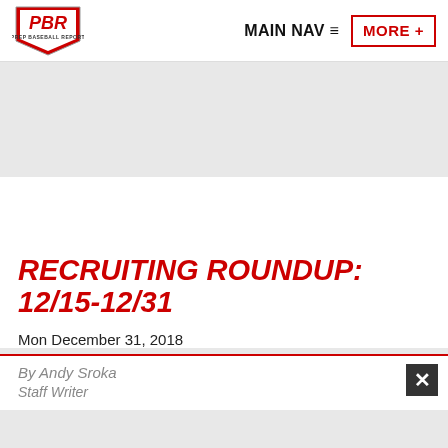MAIN NAV  MORE+
[Figure (logo): PBR Prep Baseball Report logo - shield shape with PBR text in red and white]
RECRUITING ROUNDUP: 12/15-12/31
Mon December 31, 2018
By Andy Sroka
Staff Writer